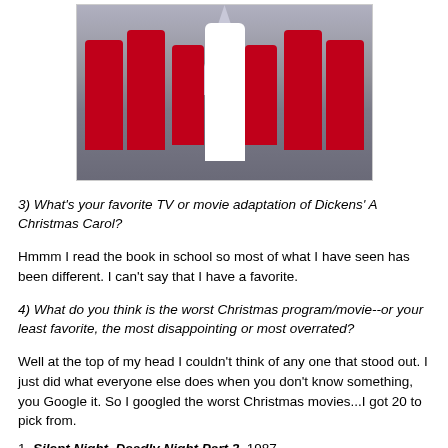[Figure (photo): A Christmas performance scene with a ballerina in white at center surrounded by performers in red Santa costumes in front of a decorated Christmas tree.]
3) What's your favorite TV or movie adaptation of Dickens' A Christmas Carol?
Hmmm I read the book in school so most of what I have seen has been different. I can't say that I have a favorite.
4) What do you think is the worst Christmas program/movie--or your least favorite, the most disappointing or most overrated?
Well at the top of my head I couldn't think of any one that stood out. I just did what everyone else does when you don't know something, you Google it. So I googled the worst Christmas movies...I got 20 to pick from.
1. Silent Night, Deadly Night Part 2, 1987